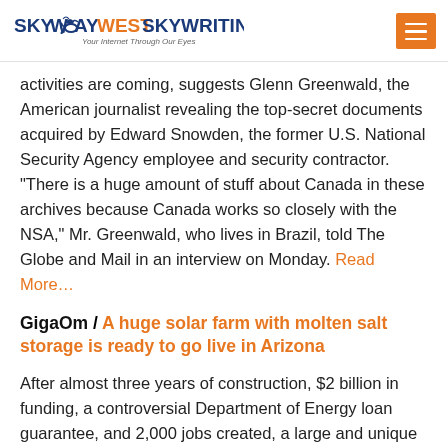SKYWAY WEST SKYWRITING — Your Internet Through Our Eyes
activities are coming, suggests Glenn Greenwald, the American journalist revealing the top-secret documents acquired by Edward Snowden, the former U.S. National Security Agency employee and security contractor. "There is a huge amount of stuff about Canada in these archives because Canada works so closely with the NSA," Mr. Greenwald, who lives in Brazil, told The Globe and Mail in an interview on Monday. Read More…
GigaOm / A huge solar farm with molten salt storage is ready to go live in Arizona
After almost three years of construction, $2 billion in funding, a controversial Department of Energy loan guarantee, and 2,000 jobs created, a large and unique solar farm about 70 miles southeast of Phoenix, Arizona,